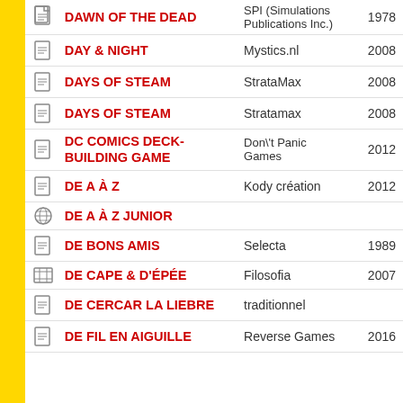| Icon | Name | Publisher | Year |
| --- | --- | --- | --- |
| doc | DAWN OF THE DEAD | SPI (Simulations Publications Inc.) | 1978 |
| doc | DAY & NIGHT | Mystics.nl | 2008 |
| doc | DAYS OF STEAM | StrataMax | 2008 |
| doc | DAYS OF STEAM | Stratamax | 2008 |
| doc | DC COMICS DECK-BUILDING GAME | Don\'t Panic Games | 2012 |
| doc | DE A À Z | Kody création | 2012 |
| globe | DE A À Z JUNIOR |  |  |
| doc | DE BONS AMIS | Selecta | 1989 |
| film | DE CAPE & D'ÉPÉE | Filosofia | 2007 |
| doc | DE CERCAR LA LIEBRE | traditionnel |  |
| doc | DE FIL EN AIGUILLE | Reverse Games | 2016 |